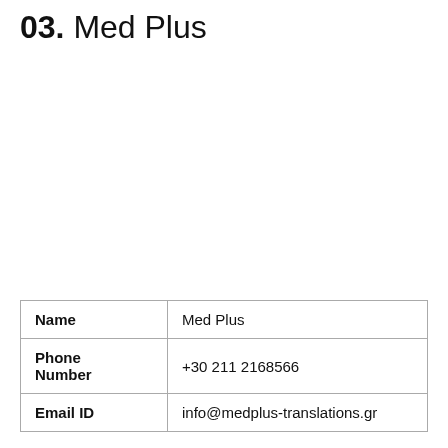03. Med Plus
| Name | Med Plus |
| Phone Number | +30 211 2168566 |
| Email ID | info@medplus-translations.gr |